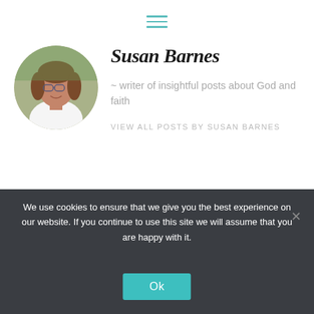[Figure (illustration): Hamburger menu icon with three horizontal teal lines]
[Figure (photo): Circular portrait photo of Susan Barnes, a woman with glasses and brown hair wearing a white top, photographed outdoors]
Susan Barnes
~ writer of insightful posts about God and faith
VIEW ALL POSTS BY SUSAN BARNES
We use cookies to ensure that we give you the best experience on our website. If you continue to use this site we will assume that you are happy with it.
Ok